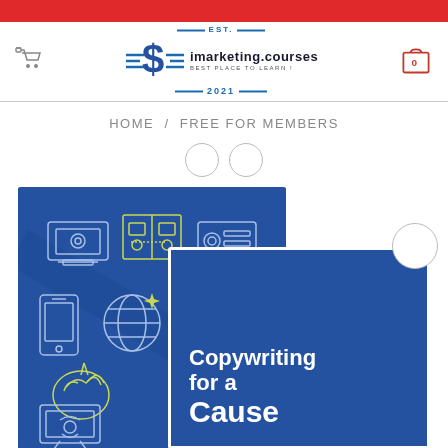[Figure (screenshot): Red top bar of imarketing.courses website]
[Figure (logo): imarketing.courses logo with dollar sign icon, EST. and 2021 text]
HOME / FREE FOR MEMBERS
[Figure (screenshot): Website screenshot showing a blue course card for 'Copywriting for a Cause' with marketing icons]